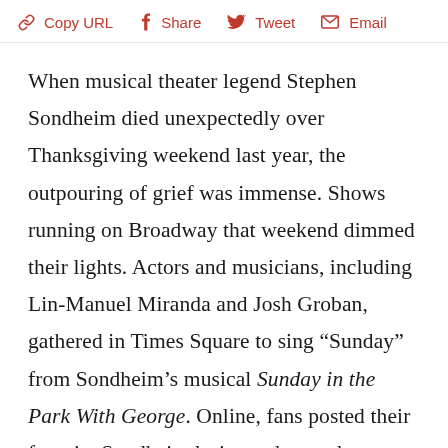Copy URL  Share  Tweet  Email
When musical theater legend Stephen Sondheim died unexpectedly over Thanksgiving weekend last year, the outpouring of grief was immense. Shows running on Broadway that weekend dimmed their lights. Actors and musicians, including Lin-Manuel Miranda and Josh Groban, gathered in Times Square to sing “Sunday” from Sondheim’s musical Sunday in the Park With George. Online, fans posted their favorite Sondheim lyrics and waxed nostalgic about encounters with his work. And one prominent tribute came from an unlikely author, one who never lived to